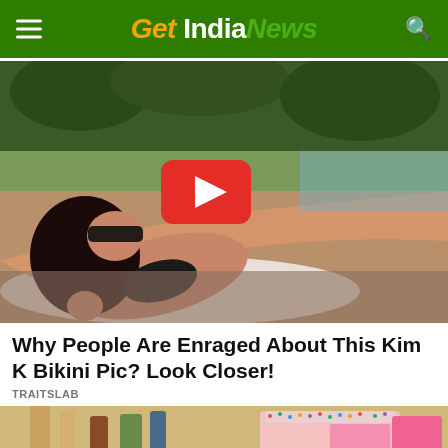Get India News
[Figure (photo): Woman in black bikini lying on a beach lounger, posing with sunglasses, with a YouTube play button overlay in the center of the image.]
Why People Are Enraged About This Kim K Bikini Pic? Look Closer!
TRAITSLAB
[Figure (photo): Partially visible image of a colorful sprinkle-covered cake with a pink slice, with various items in the background.]